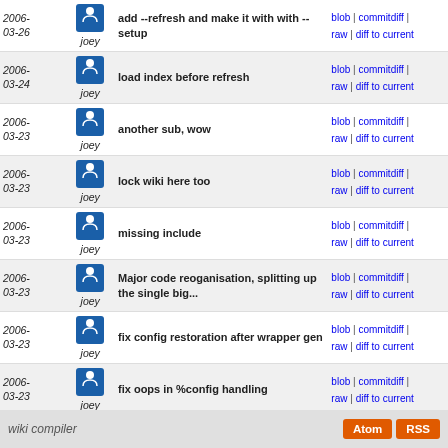| Date | User | Message | Links |
| --- | --- | --- | --- |
| 2006-03-26 | joey | add --refresh and make it with with --setup | blob | commitdiff | raw | diff to current |
| 2006-03-24 | joey | load index before refresh | blob | commitdiff | raw | diff to current |
| 2006-03-23 | joey | another sub, wow | blob | commitdiff | raw | diff to current |
| 2006-03-23 | joey | lock wiki here too | blob | commitdiff | raw | diff to current |
| 2006-03-23 | joey | missing include | blob | commitdiff | raw | diff to current |
| 2006-03-23 | joey | Major code reoganisation, splitting up the single big... | blob | commitdiff | raw | diff to current |
| 2006-03-23 | joey | fix config restoration after wrapper gen | blob | commitdiff | raw | diff to current |
| 2006-03-23 | joey | fix oops in %config handling | blob | commitdiff | raw | diff to current |
| 2006-03-23 | joey | At Branden's request, clean up the hardcoded ".ikiwiki... | blob | commitdiff | raw | diff to current |
| 2006-03-15 | joey | fixes | blob | commitdiff | raw | diff to current |
| 2006-03-15 | joey | config files now based on perl modules | blob | commitdiff | raw | diff to current |
wiki compiler  Atom  RSS